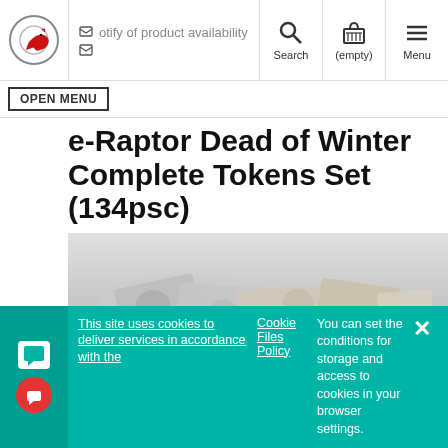e-Raptor logo, Notify of product availability, Search, (empty), Menu
OPEN MENU
e-Raptor Dead of Winter Complete Tokens Set (134psc)
[Figure (photo): Product photo showing game tokens/cards from Dead of Winter scattered on a white surface]
This site uses cookies to deliver services in accordance with the Cookie Files Policy. You can set the conditions for storage and access to cookies in your browser settings.